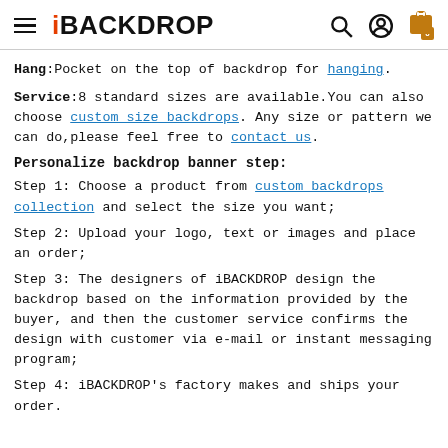iBackdrop
Hang:Pocket on the top of backdrop for hanging.
Service:8 standard sizes are available.You can also choose custom size backdrops. Any size or pattern we can do,please feel free to contact us.
Personalize backdrop banner step:
Step 1: Choose a product from custom backdrops collection and select the size you want;
Step 2: Upload your logo, text or images and place an order;
Step 3: The designers of iBACKDROP design the backdrop based on the information provided by the buyer, and then the customer service confirms the design with customer via e-mail or instant messaging program;
Step 4: iBACKDROP's factory makes and ships your order.